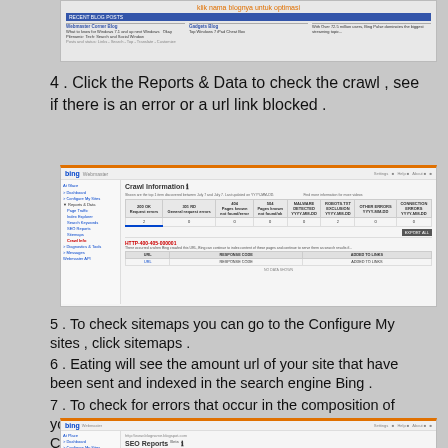[Figure (screenshot): Bing Webmaster Tools recent blog posts screenshot showing blog list with orange text link 'klik nama blognya untuk optimasi']
4 . Click the Reports & Data to check the crawl , see if there is an error or a url link blocked .
[Figure (screenshot): Bing Webmaster Tools crawl information screen showing crawl statistics table and HTTP error section]
5 . To check sitemaps you can go to the Configure My sites , click sitemaps .
6 . Eating will see the amount url of your site that have been sent and indexed in the search engine Bing .
7 . To check for errors that occur in the composition of your blogs about SEO , it can go to Diagnostics & Tools . Click SEO Analyzer .
8 . Enter your blog url in the box .
[Figure (screenshot): Bing Webmaster Tools SEO Reports screen bottom portion]